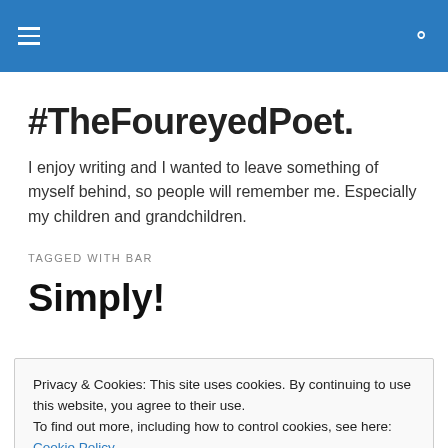#TheFoureyedPoet.
I enjoy writing and I wanted to leave something of myself behind, so people will remember me. Especially my children and grandchildren.
TAGGED WITH BAR
Simply!
Privacy & Cookies: This site uses cookies. By continuing to use this website, you agree to their use.
To find out more, including how to control cookies, see here: Cookie Policy
Close and accept